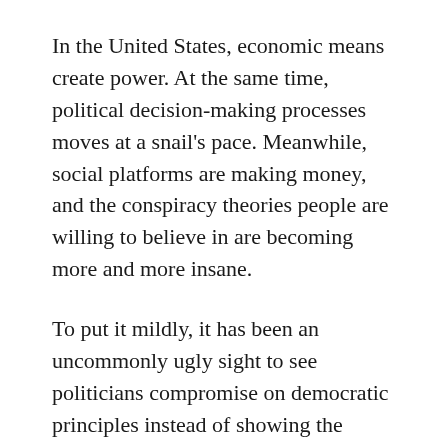In the United States, economic means create power. At the same time, political decision-making processes moves at a snail's pace. Meanwhile, social platforms are making money, and the conspiracy theories people are willing to believe in are becoming more and more insane.
To put it mildly, it has been an uncommonly ugly sight to see politicians compromise on democratic principles instead of showing the people that they are working to make the democracy they claim to be fighting for stronger and make sure nothing like we saw last year will ever happen again.